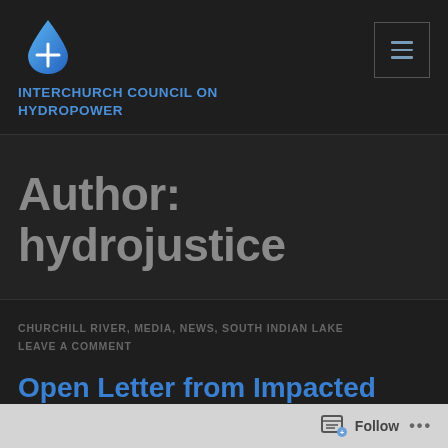INTERCHURCH COUNCIL ON HYDROPOWER
Author: hydrojustice
CHURCHILL RIVER, MEDIA, NEWS, SOUTH INDIAN LAKE
LEAVE A COMMENT
Open Letter from Impacted
Follow ...